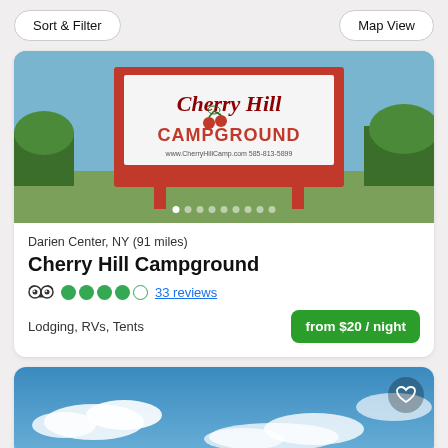Sort & Filter | Map View
[Figure (photo): Photo of Cherry Hill Campground sign with red wooden frame, showing 'Cherry Hill CAMPGROUND' text with cherry illustrations, www.CherryHillCamp.com and 585-813-5899, set against a blue sky and green trees]
Darien Center, NY (91 miles)
Cherry Hill Campground
4.5 stars – 33 reviews
Lodging, RVs, Tents
from $20 / night
[Figure (photo): Partially visible photo of a blue sky with white clouds, second campground listing card]